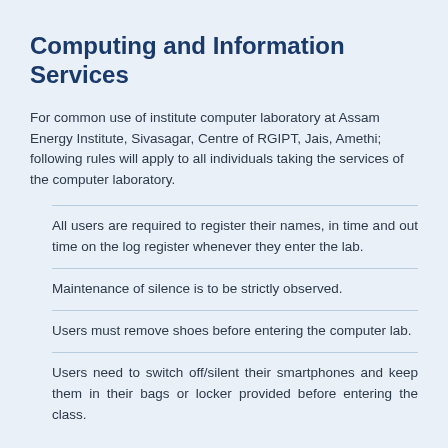Computing and Information Services
For common use of institute computer laboratory at Assam Energy Institute, Sivasagar, Centre of RGIPT, Jais, Amethi; following rules will apply to all individuals taking the services of the computer laboratory.
All users are required to register their names, in time and out time on the log register whenever they enter the lab.
Maintenance of silence is to be strictly observed.
Users must remove shoes before entering the computer lab.
Users need to switch off/silent their smartphones and keep them in their bags or locker provided before entering the class.